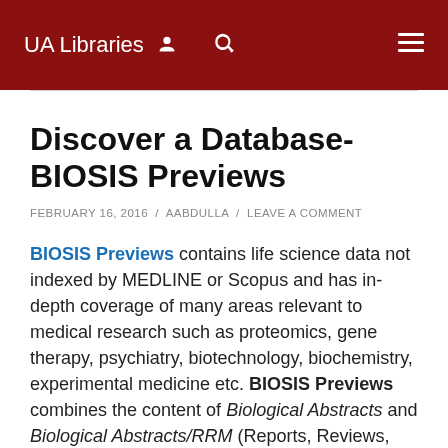UA Libraries
Discover a Database- BIOSIS Previews
FEBRUARY 16, 2016 / AABDULLA / LEAVE A COMMENT
BIOSIS Previews contains life science data not indexed by MEDLINE or Scopus and has in-depth coverage of many areas relevant to medical research such as proteomics, gene therapy, psychiatry, biotechnology, biochemistry, experimental medicine etc. BIOSIS Previews combines the content of Biological Abstracts and Biological Abstracts/RRM (Reports, Reviews, Meetings), therefore providing widespread coverage of approximately 5,500 life science journals as